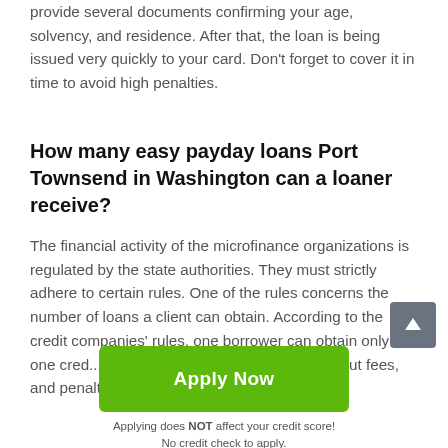provide several documents confirming your age, solvency, and residence. After that, the loan is being issued very quickly to your card. Don't forget to cover it in time to avoid high penalties.
How many easy payday loans Port Townsend in Washington can a loaner receive?
The financial activity of the microfinance organizations is regulated by the state authorities. They must strictly adhere to certain rules. One of the rules concerns the number of loans a client can obtain. According to the credit companies' rules, one borrower can obtain only one cred... All rules, conditions, information about fees, and penalties
Apply Now
Applying does NOT affect your credit score!
No credit check to apply.